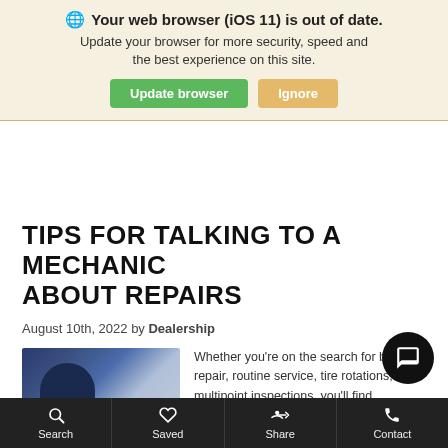🌐 Your web browser (iOS 11) is out of date. Update your browser for more security, speed and the best experience on this site.
TIPS FOR TALKING TO A MECHANIC ABOUT REPAIRS
August 10th, 2022 by Dealership
[Figure (photo): Mechanic holding a wrench in a workshop/garage setting]
Whether you're on the search for brake repair, routine service, tire rotations, or multipoint inspections, you'll find everything you need to care for your Lexu... here at O'Brien Lexus of Peoria... Open comm... ith
Search   Saved   Share   Contact